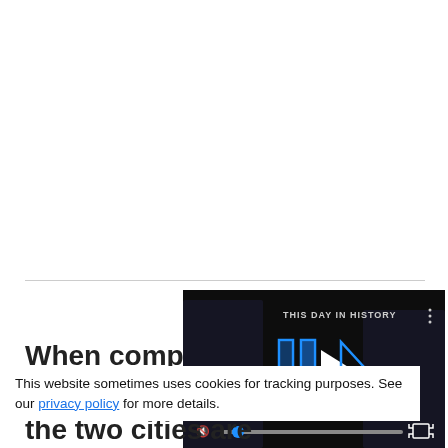When comparing
[Figure (screenshot): Video player showing 'THIS DAY IN HISTORY' with play button, mute icon, progress bar, and fullscreen button on dark background with AUGUST label]
This website sometimes uses cookies for tracking purposes. See our privacy policy for more details.
the two cities are